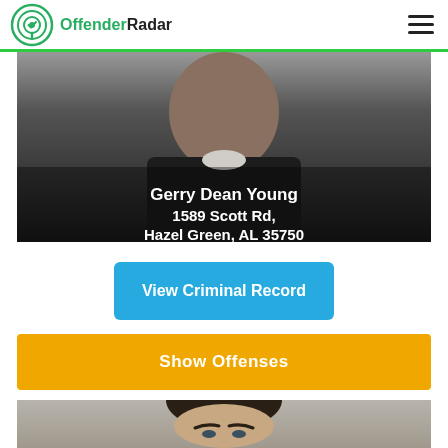OffenderRadar
[Figure (photo): Mugshot photo of Gerry Dean Young, dark background, subject wearing dark shirt with text overlay showing name and address]
Gerry Dean Young
1589 Scott Rd,
Hazel Green, AL 35750
View Criminal Record
Show Offenses
[Figure (photo): Mugshot photo of a young white male with dark hair against a grey stone background]